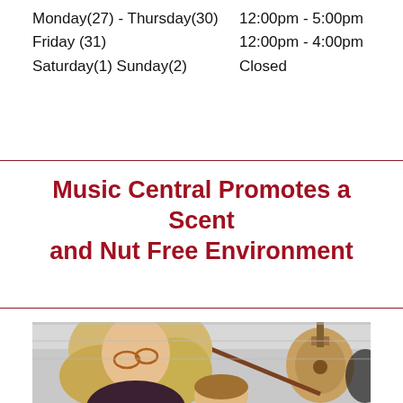Monday(27) - Thursday(30)   12:00pm - 5:00pm
Friday (31)                  12:00pm - 4:00pm
Saturday(1) Sunday(2)        Closed
Music Central Promotes a Scent and Nut Free Environment
[Figure (photo): A woman with blonde hair and glasses leaning over a child playing violin, with guitars visible in the background.]